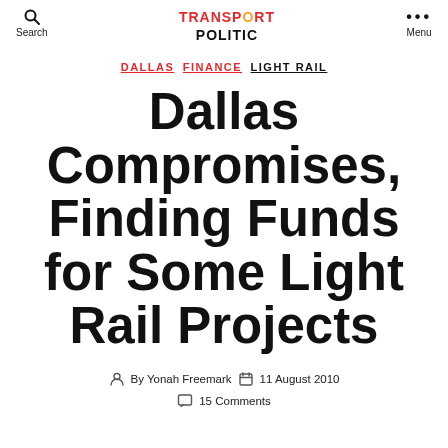Search | TRANSPORT POLITIC | Menu
DALLAS  FINANCE  LIGHT RAIL
Dallas Compromises, Finding Funds for Some Light Rail Projects
By Yonah Freemark   11 August 2010
15 Comments